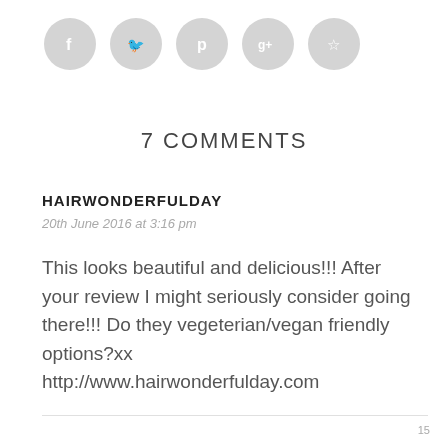[Figure (illustration): Five social media icon circles (gray): Facebook (f), Twitter (bird), Pinterest (p), Google+ (g+), and a share/stumbleupon icon]
7 COMMENTS
HAIRWONDERFULDAY
20th June 2016 at 3:16 pm
This looks beautiful and delicious!!! After your review I might seriously consider going there!!! Do they vegeterian/vegan friendly options?xx
http://www.hairwonderfulday.com